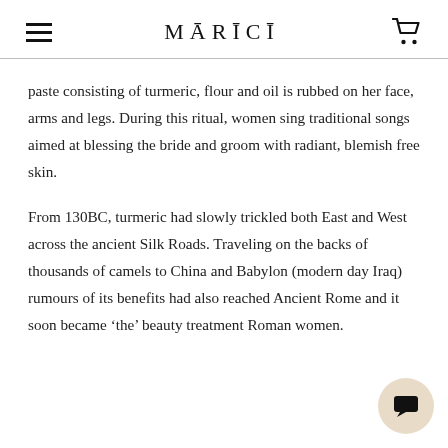MĀRICĪ
paste consisting of turmeric, flour and oil is rubbed on her face, arms and legs. During this ritual, women sing traditional songs aimed at blessing the bride and groom with radiant, blemish free skin.
From 130BC, turmeric had slowly trickled both East and West across the ancient Silk Roads. Traveling on the backs of thousands of camels to China and Babylon (modern day Iraq) rumours of its benefits had also reached Ancient Rome and it  soon became 'the' beauty treatment Roman women.